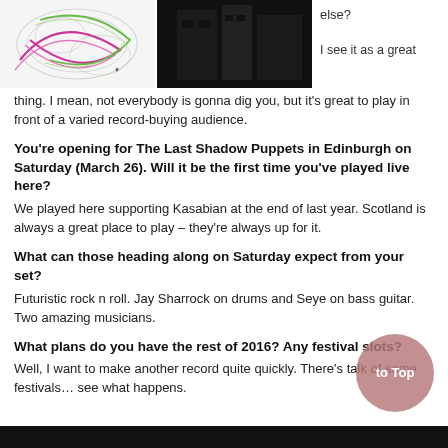[Figure (illustration): Colorful abstract circular line art on white background]
[Figure (photo): Black and white photo, dark scene]
else?
I see it as a great thing. I mean, not everybody is gonna dig you, but it's great to play in front of a varied record-buying audience.
You're opening for The Last Shadow Puppets in Edinburgh on Saturday (March 26). Will it be the first time you've played live here?
We played here supporting Kasabian at the end of last year. Scotland is always a great place to play – they're always up for it.
What can those heading along on Saturday expect from your set?
Futuristic rock n roll. Jay Sharrock on drums and Seye on bass guitar. Two amazing musicians.
What plans do you have the rest of 2016? Any festival slots?
Well, I want to make another record quite quickly. There's talk of some festivals… see what happens.